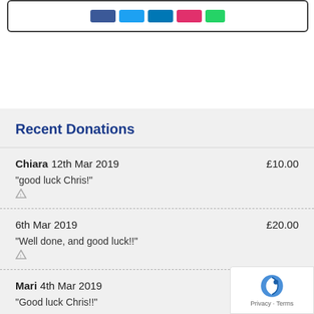[Figure (other): Share buttons bar inside a rounded rectangle box at top of page]
Recent Donations
Chiara 12th Mar 2019 £10.00 "good luck Chris!"
6th Mar 2019 £20.00 "Well done, and good luck!!"
Mari 4th Mar 2019 "Good luck Chris!!"